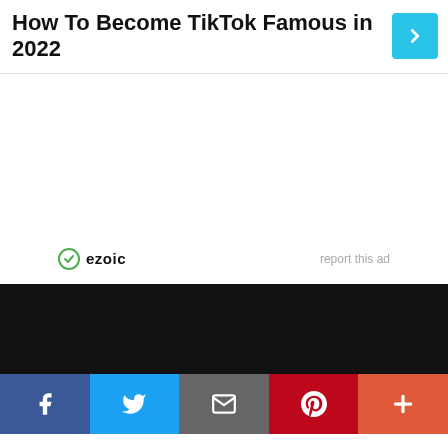How To Become TikTok Famous in 2022
[Figure (other): Cyan/blue arrow button pointing right]
[Figure (other): Ezoic ad placeholder area with ezoic branding and report this ad link]
[Figure (other): Dark black footer bar]
[Figure (other): Social sharing bar with Facebook, Twitter, Email, Pinterest, and More buttons]